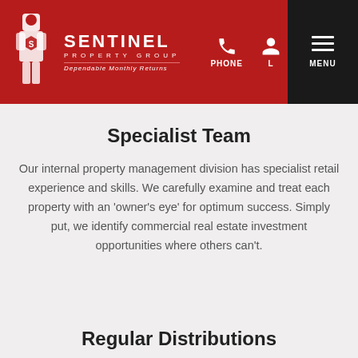Sentinel Property Group — Dependable Monthly Returns | PHONE | LOGIN | MENU
Specialist Team
Our internal property management division has specialist retail experience and skills. We carefully examine and treat each property with an 'owner's eye' for optimum success. Simply put, we identify commercial real estate investment opportunities where others can't.
Regular Distributions